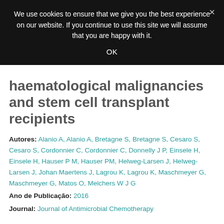[Figure (screenshot): Cookie consent banner overlay with dark background. Text: 'We use cookies to ensure that we give you the best experience on our website. If you continue to use this site we will assume that you are happy with it.' with OK button and close (×) button.]
haematological malignancies and stem cell transplant recipients
Autores: Alanio A, Alanio A, Bretagne S, Bretagne S, Cesaro S, Cesaro S, Cordonnier C, Cordonnier C, Donnelly J P, Einsele H, Einsele H, Hauser P M, Hauser PM, Helweg-Larsen J, Helweg-Larsen J, Johan Maertens J, Lagrou K, Lagrou K, Maschmeyer G, Maschmeyer G, Matos O, Melchers W J G
Ano de Publicação: 2016
Journal: Journal of Antimicrobial Chemotherapy